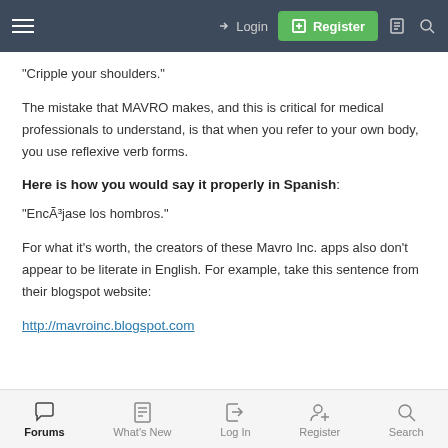Login | Register
"Cripple your shoulders."
The mistake that MAVRO makes, and this is critical for medical professionals to understand, is that when you refer to your own body, you use reflexive verb forms.
Here is how you would say it properly in Spanish:
"EncÃ³jase los hombros."
For what it's worth, the creators of these Mavro Inc. apps also don't appear to be literate in English. For example, take this sentence from their blogspot website:
http://mavroinc.blogspot.com
Forums | What's New | Log In | Register | Search